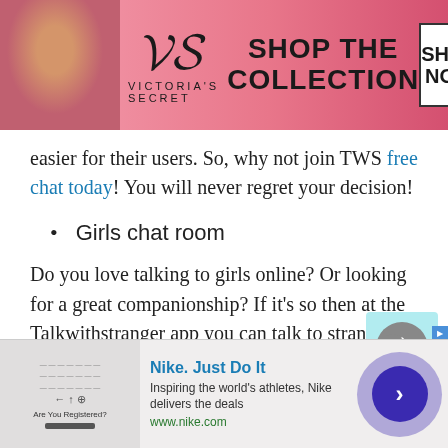[Figure (screenshot): Victoria's Secret advertisement banner with model, logo, SHOP THE COLLECTION text and SHOP NOW button]
easier for their users. So, why not join TWS free chat today! You will never regret your decision!
Girls chat room
Do you love talking to girls online? Or looking for a great companionship? If it's so then at the Talkwithstranger app you can talk to strangers in Hungary and find your best match or true companion. Well, TWS girls chat room is not only
[Figure (screenshot): Nike Just Do It advertisement banner with tagline and www.nike.com URL]